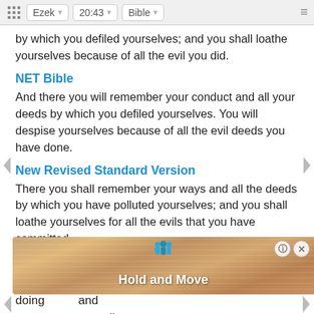Ezek 20:43 Bible
by which you defiled yourselves; and you shall loathe yourselves because of all the evil you did.
NET Bible
And there you will remember your conduct and all your deeds by which you defiled yourselves. You will despise yourselves because of all the evil deeds you have done.
New Revised Standard Version
There you shall remember your ways and all the deeds by which you have polluted yourselves; and you shall loathe yourselves for all the evils that you have committed.
New Heart English Bible
There you shall remember your ways and your doings by which you have polluted yourselves; and you shall loathe yourselves for all...